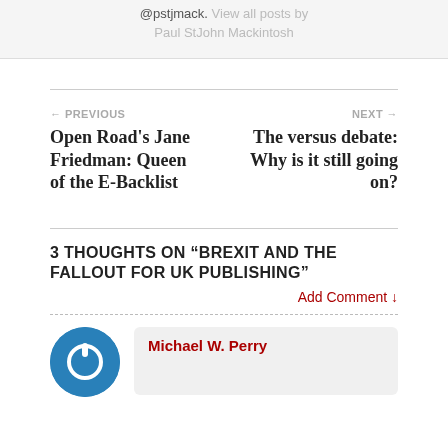@pstjmack. View all posts by Paul StJohn Mackintosh
← PREVIOUS
Open Road's Jane Friedman: Queen of the E-Backlist
NEXT →
The versus debate: Why is it still going on?
3 THOUGHTS ON "BREXIT AND THE FALLOUT FOR UK PUBLISHING"
Add Comment ↓
Michael W. Perry